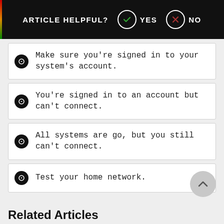ARTICLE HELPFUL? YES NO
Make sure you're signed in to your system's account.
You're signed in to an account but can't connect.
All systems are go, but you still can't connect.
Test your home network.
Related Articles